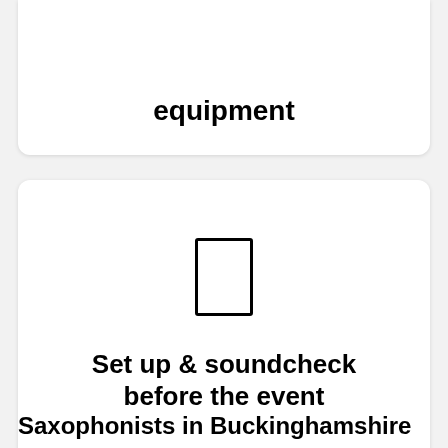equipment
[Figure (illustration): A small rectangle icon representing a mobile device or card, centered in a white card area]
Set up & soundcheck before the event
Saxophonists in Buckinghamshire